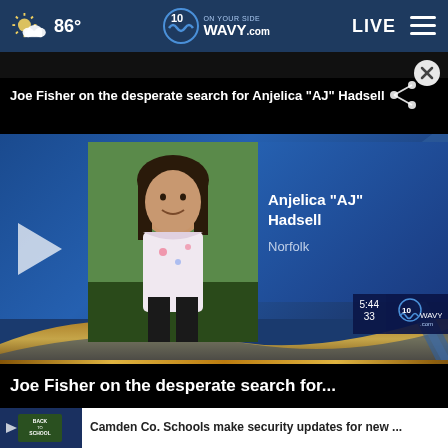86° | WAVY.com ON YOUR SIDE | LIVE
Joe Fisher on the desperate search for Anjelica "AJ" Hadsell
[Figure (screenshot): Video thumbnail showing Anjelica AJ Hadsell with name card overlay. Name: Anjelica "AJ" Hadsell, Location: Norfolk. WAVY 10 logo and timestamp 5:44 33 visible.]
Joe Fisher on the desperate search for...
[Figure (screenshot): Related story thumbnail showing Back to School signage]
Camden Co. Schools make security updates for new ...